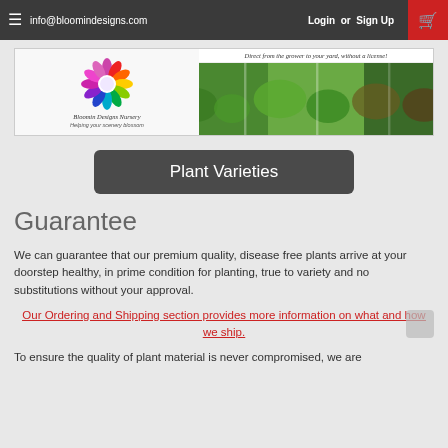info@bloomindesigns.com   Login or Sign Up
[Figure (logo): Bloomin Designs Nursery logo with colorful flower and nursery photo banner. Text: 'Direct from the grower to your yard, without a license!' and 'Helping your scenery blossom']
Plant Varieties
Guarantee
We can guarantee that our premium quality, disease free plants arrive at your doorstep healthy, in prime condition for planting, true to variety and no substitutions without your approval.
Our Ordering and Shipping section provides more information on what and how we ship.
To ensure the quality of plant material is never compromised, we are